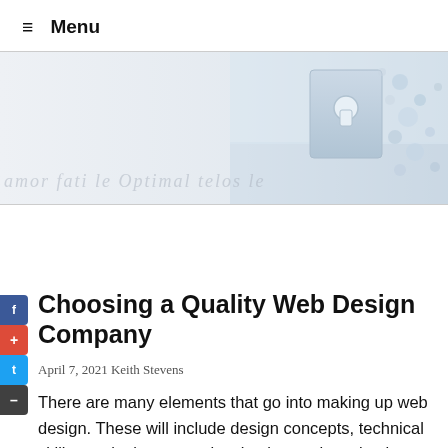≡ Menu
[Figure (illustration): Website security hero banner with cursive watermark text and a blue-grey security lock/keyhole illustration on the right side, showing a lock with small circular elements floating around it.]
Choosing a Quality Web Design Company
April 7, 2021 Keith Stevens
There are many elements that go into making up web design. These will include design concepts, technical skills, marketing strategies, business plans, business operations, and